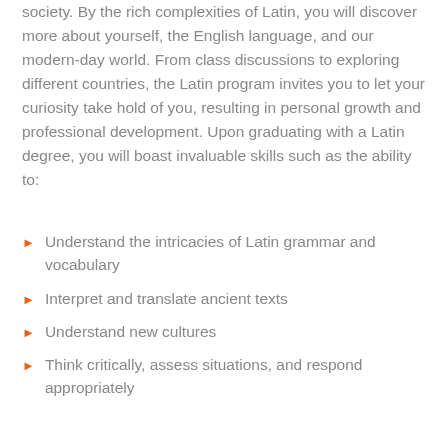society. By the rich complexities of Latin, you will discover more about yourself, the English language, and our modern-day world. From class discussions to exploring different countries, the Latin program invites you to let your curiosity take hold of you, resulting in personal growth and professional development. Upon graduating with a Latin degree, you will boast invaluable skills such as the ability to:
Understand the intricacies of Latin grammar and vocabulary
Interpret and translate ancient texts
Understand new cultures
Think critically, assess situations, and respond appropriately